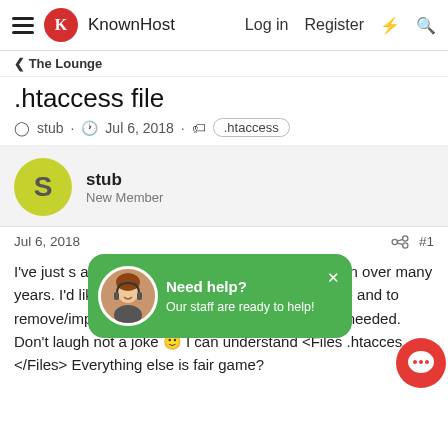KnownHost — Log in   Register
The Lounge
.htaccess file
stub · Jul 6, 2018 · .htaccess
stub
New Member
Jul 6, 2018   #1
I've just s... a little, but sma... general. I have an... d down over many years. I'd like to modernize it and bring it up to date and to remove/improve anything w... might or might not be needed. Don't laugh... not a joke 🙂 I can understand <Files .htaccess </Files> Everything else is fair game?
[Figure (infographic): Green chat popup overlay saying 'Need help? Our staff are ready to help!' with a customer support avatar and close button. A red chat bubble button is in the lower right corner.]